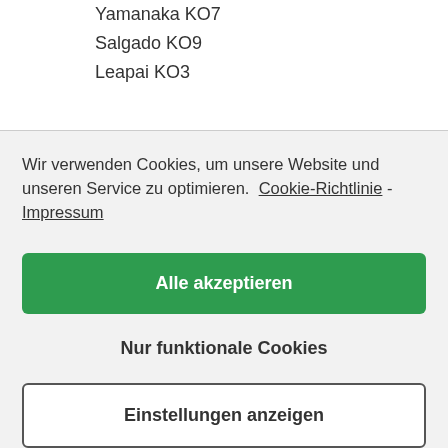Yamanaka KO7
Salgado KO9
Leapai KO3
Wir verwenden Cookies, um unsere Website und unseren Service zu optimieren.  Cookie-Richtlinie -  Impressum
Alle akzeptieren
Nur funktionale Cookies
Einstellungen anzeigen
Yamanaka KO9
Ao UD
Leapai UD